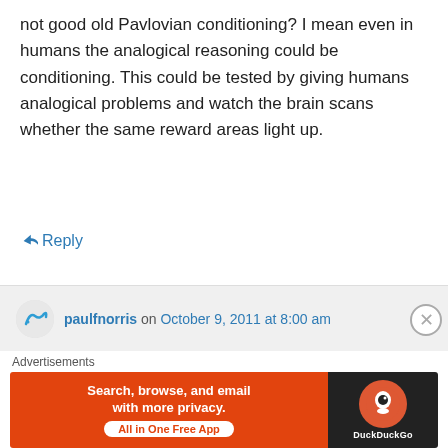not good old Pavlovian conditioning? I mean even in humans the analogical reasoning could be conditioning. This could be tested by giving humans analogical problems and watch the brain scans whether the same reward areas light up.
↳ Reply
paulfnorris on October 9, 2011 at 8:00 am
Really good question, and I'm not sure that I can give you a fully satisfactory answer. I
Advertisements
[Figure (screenshot): DuckDuckGo advertisement banner: orange left section with text 'Search, browse, and email with more privacy. All in One Free App' and dark right section with DuckDuckGo logo]